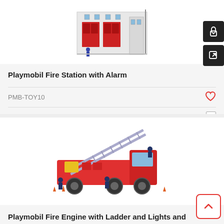[Figure (photo): Playmobil Fire Station with Alarm toy product image showing a building with red doors and firefighter figures]
Playmobil Fire Station with Alarm
PMB-TOY10
Compare
[Figure (photo): Playmobil Fire Engine with Ladder and Lights and Sounds toy product image showing a red fire truck with extended ladder and firefighter figures]
Playmobil Fire Engine with Ladder and Lights and Sounds